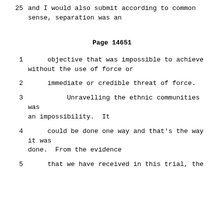and I would also submit according to common sense, separation was an
Page 14651
1    objective that was impossible to achieve without the use of force or
2    immediate or credible threat of force.
3         Unravelling the ethnic communities was an impossibility.  It
4    could be done one way and that's the way it was done.  From the evidence
5    that we have received in this trial, the